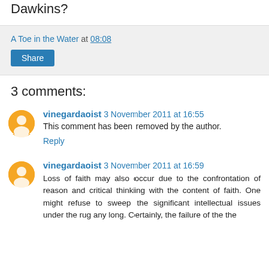Dawkins?
A Toe in the Water at 08:08
Share
3 comments:
vinegardaoist 3 November 2011 at 16:55
This comment has been removed by the author.
Reply
vinegardaoist 3 November 2011 at 16:59
Loss of faith may also occur due to the confrontation of reason and critical thinking with the content of faith. One might refuse to sweep the significant intellectual issues under the rug any long. Certainly, the failure of the the